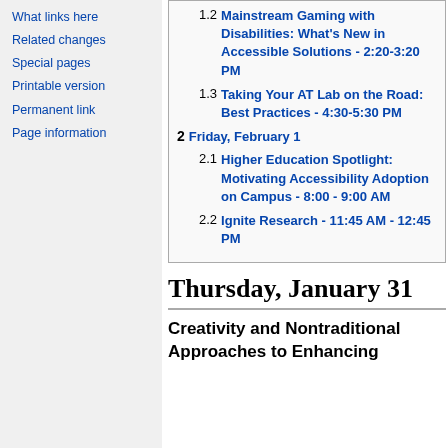What links here
Related changes
Special pages
Printable version
Permanent link
Page information
1.2 Mainstream Gaming with Disabilities: What's New in Accessible Solutions - 2:20-3:20 PM
1.3 Taking Your AT Lab on the Road: Best Practices - 4:30-5:30 PM
2 Friday, February 1
2.1 Higher Education Spotlight: Motivating Accessibility Adoption on Campus - 8:00 - 9:00 AM
2.2 Ignite Research - 11:45 AM - 12:45 PM
Thursday, January 31
Creativity and Nontraditional Approaches to Enhancing